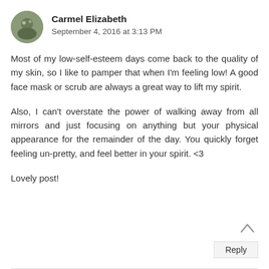Carmel Elizabeth
September 4, 2016 at 3:13 PM
Most of my low-self-esteem days come back to the quality of my skin, so I like to pamper that when I'm feeling low! A good face mask or scrub are always a great way to lift my spirit.
Also, I can't overstate the power of walking away from all mirrors and just focusing on anything but your physical appearance for the remainder of the day. You quickly forget feeling un-pretty, and feel better in your spirit. <3
Lovely post!